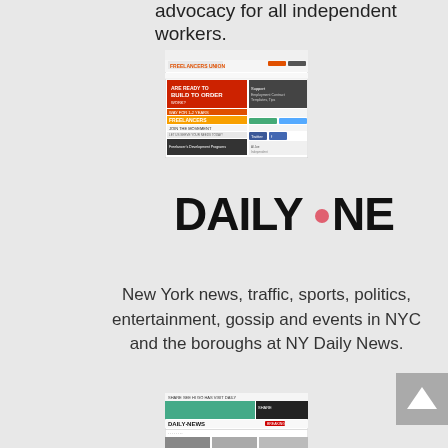advocacy for all independent workers.
[Figure (screenshot): Freelancers Union website screenshot]
[Figure (logo): Daily News logo with red dot between DAILY and NEWS]
New York news, traffic, sports, politics, entertainment, gossip and events in NYC and the boroughs at NY Daily News.
[Figure (screenshot): NY Daily News website screenshot]